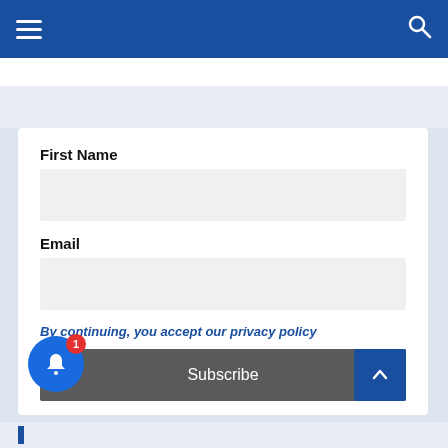Navigation header with hamburger menu and search icon
First Name
Email
By continuing, you accept our privacy policy
Subscribe